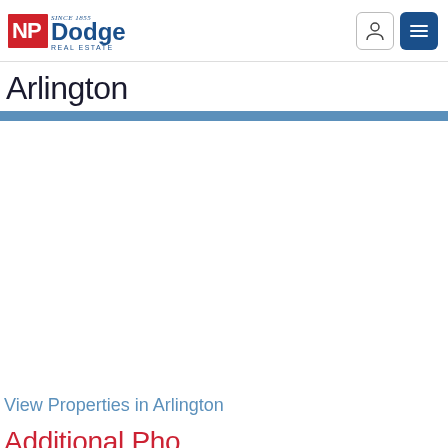NP Dodge Real Estate — Since 1855
Arlington
View Properties in Arlington
Additional Ph...